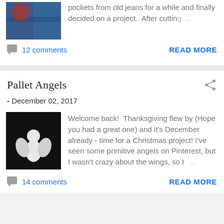pockets from old jeans for a while and finally decided on a project.  After cuttin  ...
12 comments
READ MORE
Pallet Angels
- December 02, 2017
[Figure (photo): White primitive angel figure against dark background]
Welcome back!  Thanksgiving flew by (Hope you had a great one) and it's December already - time for a Christmas project! I've seen some primitive angels on Pinterest, but I wasn't crazy about the wings, so I  ...
14 comments
READ MORE